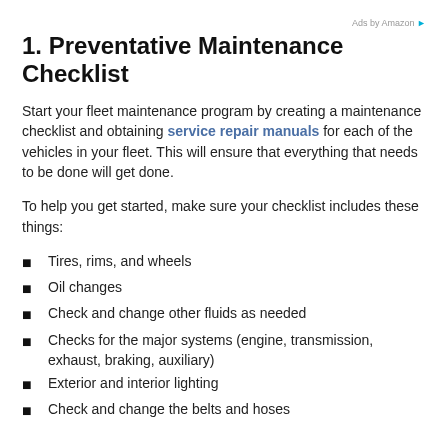Ads by Amazon
1. Preventative Maintenance Checklist
Start your fleet maintenance program by creating a maintenance checklist and obtaining service repair manuals for each of the vehicles in your fleet. This will ensure that everything that needs to be done will get done.
To help you get started, make sure your checklist includes these things:
Tires, rims, and wheels
Oil changes
Check and change other fluids as needed
Checks for the major systems (engine, transmission, exhaust, braking, auxiliary)
Exterior and interior lighting
Check and change the belts and hoses